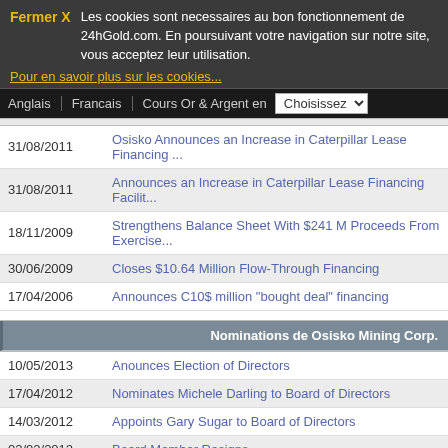Fermer X  Les cookies sont necessaires au bon fonctionnement de 24hGold.com. En poursuivant votre navigation sur notre site, vous acceptez leur utilisation.
Pour en savoir plus sur les cookies...
Anglais | Francais | Cours Or & Argent en | Choisissez
| Date | Title |
| --- | --- |
| 31/08/2011 | Osisko Announces an Increase in Caterpillar Lease Financing ... |
| 31/08/2011 | Announces an Increase in Caterpillar Lease Financing Facilit... |
| 18/11/2009 | Strengthens Balance Sheet With $241 M Proceeds From Exercise... |
| 30/06/2009 | Closes $10.64 Million Flow-Through Financing |
| 17/04/2006 | Announces C10$ million "bought deal" financing |
Nominations de Osisko Mining Corp.
| Date | Title |
| --- | --- |
| 10/05/2013 | Anounces Election of Directors |
| 17/04/2012 | Nominates Michele Darling to Board of Directors |
| 14/03/2012 | Appoints Gary Sugar to Board of Directors |
| 02/02/2012 | Board Member Resigns |
| 16/09/2011 | Osisko Appoints Richard Ross to Board of Directors |
| 15/09/2011 | Appoints Richard Ross to Board of Directors |
| 22/08/2011 | Director Resigns |